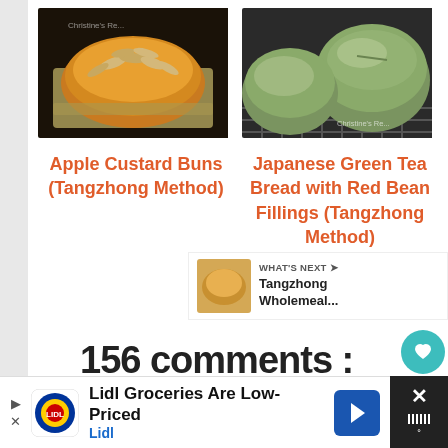[Figure (photo): Photo of Apple Custard Buns topped with sliced almonds in a foil pan, dark background]
[Figure (photo): Photo of Japanese Green Tea Bread rolls with red bean fillings on a cooling rack]
Apple Custard Buns (Tangzhong Method)
Japanese Green Tea Bread with Red Bean Fillings (Tangzhong Method)
[Figure (infographic): Heart like button with teal background and share button, count 34]
[Figure (infographic): What's Next panel: Tangzhong Wholemeal...]
156 comments :
[Figure (infographic): Lidl Groceries Are Low-Priced advertisement banner]